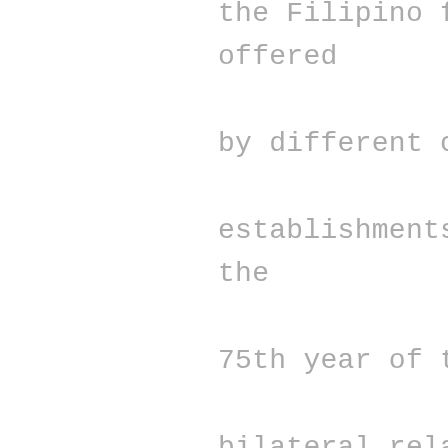the Filipino food specials that are offered by different chefs and food establishments. In commemoration of the 75th year of the establishment of the bilateral relations between the Philippines and the United States, this year's Filipino Food Week shall focus on the ways Filipino cuisine has enriched Hawaii's culinary landscape. Restaurants across the State will be offering special Filipino dishes that combine both Filipino and Hawaiian influences. The event culminates with Pusong Filipinx Market on June 13 at the Bishop Museum, where attendees can shop Filipino food and other Philippine-